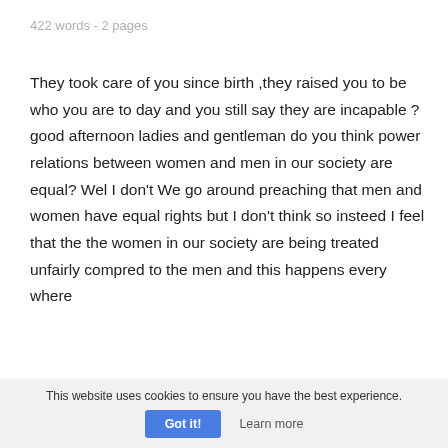422 words - 2 pages
They took care of you since birth ,they raised you to be who you are to day and you still say they are incapable ? good afternoon ladies and gentleman do you think power relations between women and men in our society are equal? Wel I don't We go around preaching that men and women have equal rights but I don't think so insteed I feel that the the women in our society are being treated unfairly compred to the men and this happens every where
This website uses cookies to ensure you have the best experience. Got it! Learn more